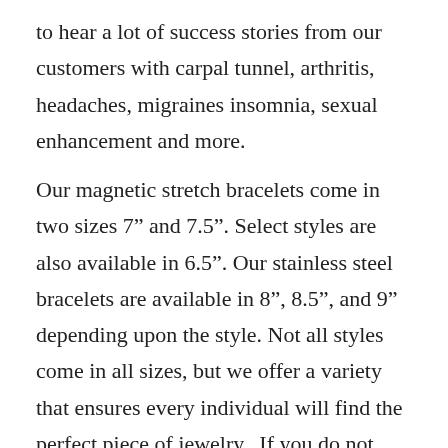to hear a lot of success stories from our customers with carpal tunnel, arthritis, headaches, migraines insomnia, sexual enhancement and more.
Our magnetic stretch bracelets come in two sizes 7" and 7.5". Select styles are also available in 6.5". Our stainless steel bracelets are available in 8", 8.5", and 9" depending upon the style. Not all styles come in all sizes, but we offer a variety that ensures every individual will find the perfect piece of jewelry.  If you do not know your bracelet size, you can measure your wrist